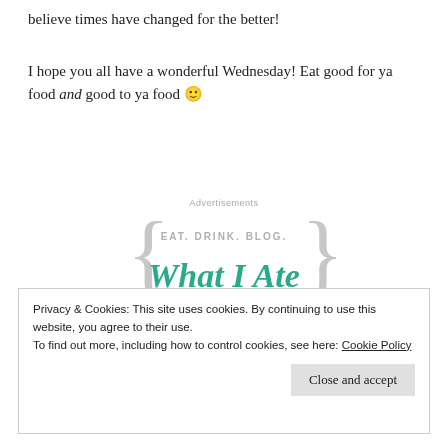believe times have changed for the better!
I hope you all have a wonderful Wednesday! Eat good for ya food and good to ya food 🙂
Advertisements
[Figure (logo): Blog logo with curly braces reading EAT. DRINK. BLOG. What I Ate in teal cursive script on gray decorative brackets]
Privacy & Cookies: This site uses cookies. By continuing to use this website, you agree to their use.
To find out more, including how to control cookies, see here: Cookie Policy
Close and accept